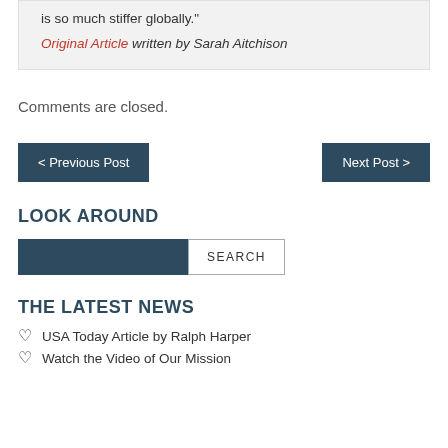is so much stiffer globally."
Original Article written by Sarah Aitchison
Comments are closed.
< Previous Post
Next Post >
LOOK AROUND
THE LATEST NEWS
USA Today Article by Ralph Harper
Watch the Video of Our Mission